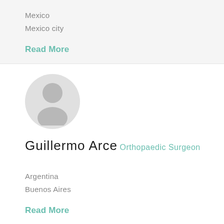Mexico
Mexico city
Read More
[Figure (illustration): Default avatar silhouette of a person in a light gray circle]
Guillermo Arce
Orthopaedic Surgeon
Argentina
Buenos Aires
Read More